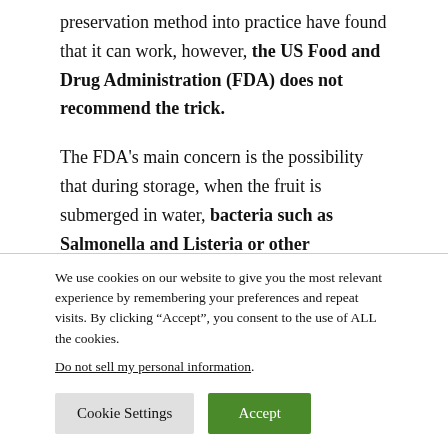preservation method into practice have found that it can work, however, the US Food and Drug Administration (FDA) does not recommend the trick.
The FDA's main concern is the possibility that during storage, when the fruit is submerged in water, bacteria such as Salmonella and Listeria or other pathogens that may be
We use cookies on our website to give you the most relevant experience by remembering your preferences and repeat visits. By clicking “Accept”, you consent to the use of ALL the cookies. Do not sell my personal information.